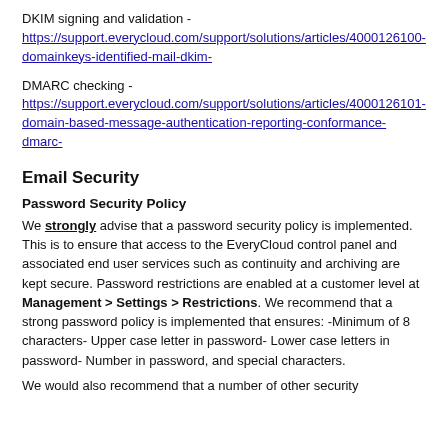DKIM signing and validation - https://support.everycloud.com/support/solutions/articles/4000126100-domainkeys-identified-mail-dkim-
DMARC checking - https://support.everycloud.com/support/solutions/articles/4000126101-domain-based-message-authentication-reporting-conformance-dmarc-
Email Security
Password Security Policy
We strongly advise that a password security policy is implemented. This is to ensure that access to the EveryCloud control panel and associated end user services such as continuity and archiving are kept secure. Password restrictions are enabled at a customer level at Management > Settings > Restrictions. We recommend that a strong password policy is implemented that ensures: -Minimum of 8 characters- Upper case letter in password- Lower case letters in password- Number in password, and special characters.
We would also recommend that a number of other security...